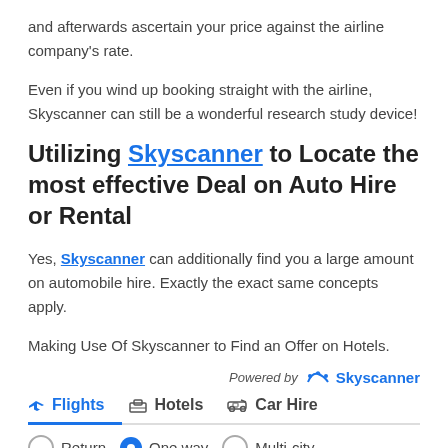and afterwards ascertain your price against the airline company's rate.
Even if you wind up booking straight with the airline, Skyscanner can still be a wonderful research study device!
Utilizing Skyscanner to Locate the most effective Deal on Auto Hire or Rental
Yes, Skyscanner can additionally find you a large amount on automobile hire. Exactly the exact same concepts apply.
Making Use Of Skyscanner to Find an Offer on Hotels.
[Figure (screenshot): Powered by Skyscanner widget with Flights, Hotels, Car Hire tabs and Return, One way, Multi-city radio buttons]